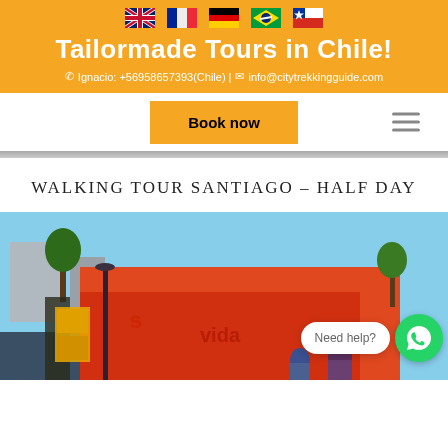[Figure (other): Orange header banner with five country flags (UK, France, Germany, Brazil, Chile), site title 'Tailormade Tours in Chile!', and contact information]
Tailormade Tours in Chile!
Ignacio: +56958657393(Chile) | info@citytrekkingguide.com
Book now
WALKING TOUR SANTIAGO – HALF DAY
[Figure (photo): Street scene in Santiago with colorful murals, trees, and people. 'Need help?' WhatsApp chat bubble visible in bottom right.]